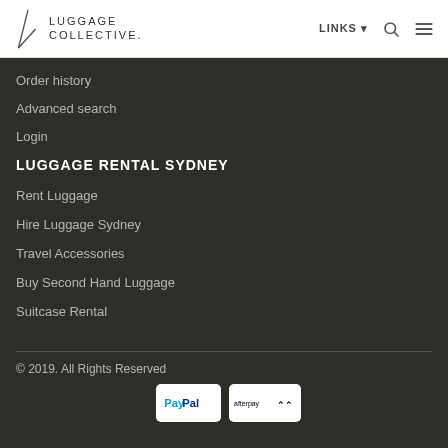LUGGAGE COLLECTIVE. LINKS
Order history
Advanced search
Login
LUGGAGE RENTAL SYDNEY
Rent Luggage
Hire Luggage Sydney
Travel Accessories
Buy Second Hand Luggage
Suitcase Rental
© 2019. All Rights Reserved